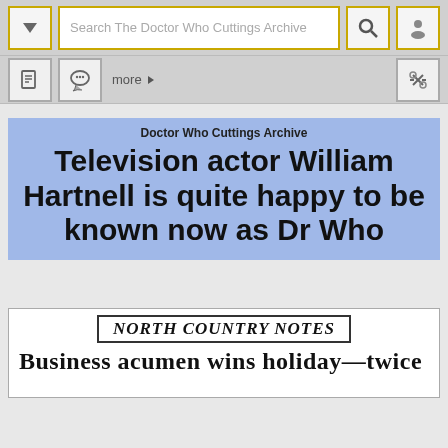Search The Doctor Who Cuttings Archive
Doctor Who Cuttings Archive
Television actor William Hartnell is quite happy to be known now as Dr Who
[Figure (screenshot): Newspaper clipping header reading NORTH COUNTRY NOTES with subheading 'Business acumen wins holiday—twice']